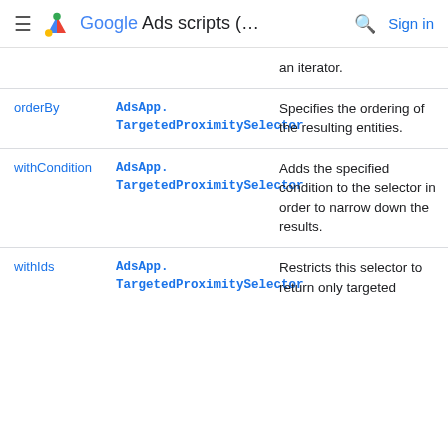Google Ads scripts (…)
| Method | Returns | Description |
| --- | --- | --- |
|  | an iterator. |  |
| orderBy | AdsApp.TargetedProximitySelector | Specifies the ordering of the resulting entities. |
| withCondition | AdsApp.TargetedProximitySelector | Adds the specified condition to the selector in order to narrow down the results. |
| withIds | AdsApp.TargetedProximitySelector | Restricts this selector to return only targeted |